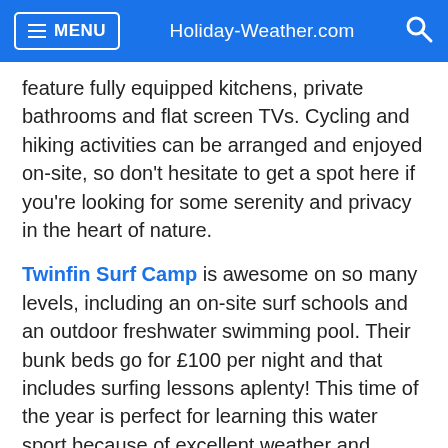MENU  Holiday-Weather.com
feature fully equipped kitchens, private bathrooms and flat screen TVs. Cycling and hiking activities can be arranged and enjoyed on-site, so don't hesitate to get a spot here if you're looking for some serenity and privacy in the heart of nature.
Twinfin Surf Camp is awesome on so many levels, including an on-site surf schools and an outdoor freshwater swimming pool. Their bunk beds go for £100 per night and that includes surfing lessons aplenty! This time of the year is perfect for learning this water sport because of excellent weather and ocean conditions, so it's only natural that this little camp gets booked up really fast. The accommodation also features a mini-skateboard ramp and a terrace with cosy outdoor furniture, and if you want, you can even take on the barbecue facility in front of the lush